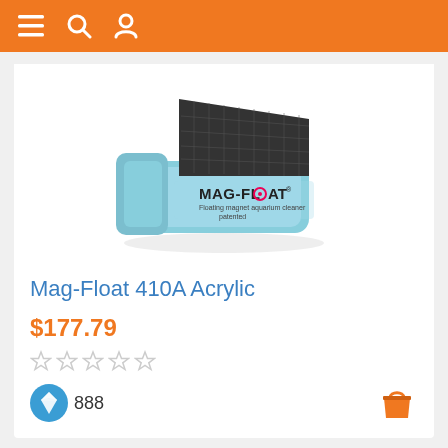Navigation bar with menu, search, and user icons
[Figure (photo): Mag-Float 410A Acrylic floating magnet aquarium cleaner product image, light blue color with black scrubbing pad on top]
Mag-Float 410A Acrylic
$177.79
[Figure (other): Five empty/unfilled star rating icons]
888
[Figure (other): Diamond/gem loyalty points icon (blue circle with diamond inside) and shopping bag icon (orange)]